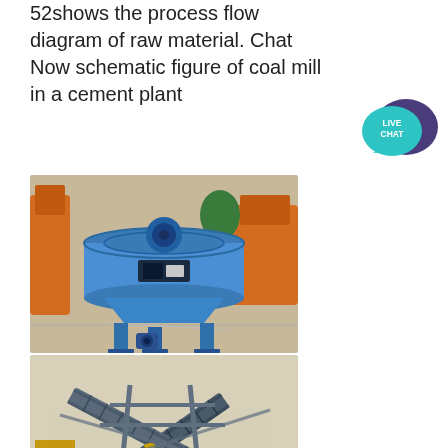52shows the process flow diagram of raw material. Chat Now schematic figure of coal mill in a cement plant
[Figure (photo): Blue industrial pan mixer / coal mill machine on metal legs with motor, photographed outdoors in a factory yard with orange machinery in background]
[Figure (photo): Aerial view of industrial conveyor belt system for raw material processing at a cement plant, with red wheel visible and multiple crossing belt conveyors]
[Figure (illustration): Live Chat speech bubble button in teal/cyan with dark purple speech bubble overlay, labeled LIVE CHAT]